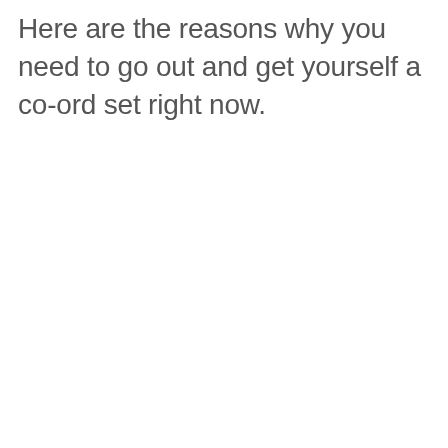Here are the reasons why you need to go out and get yourself a co-ord set right now.